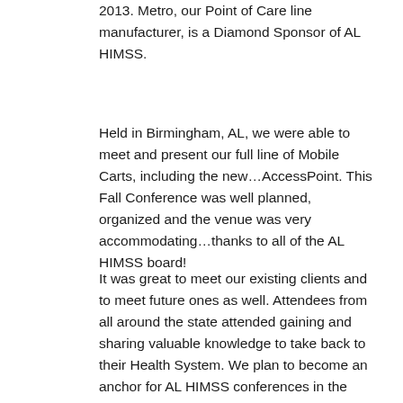2013. Metro, our Point of Care line manufacturer, is a Diamond Sponsor of AL HIMSS.
Held in Birmingham, AL, we were able to meet and present our full line of Mobile Carts, including the new…AccessPoint. This Fall Conference was well planned, organized and the venue was very accommodating…thanks to all of the AL HIMSS board!
It was great to meet our existing clients and to meet future ones as well. Attendees from all around the state attended gaining and sharing valuable knowledge to take back to their Health System. We plan to become an anchor for AL HIMSS conferences in the future.